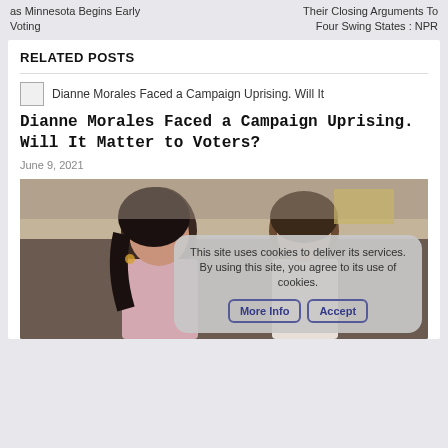as Minnesota Begins Early Voting | Their Closing Arguments To Four Swing States : NPR
RELATED POSTS
Dianne Morales Faced a Campaign Uprising. Will It Matter to Voters?
Dianne Morales Faced a Campaign Uprising. Will It Matter to Voters?
June 9, 2021
[Figure (photo): Two women outdoors, one with long dark hair in a light pink shirt, another with curly hair in a white shirt, appearing to be at a campaign event]
This site uses cookies to deliver its services. By using this site, you agree to its use of cookies. More Info Accept